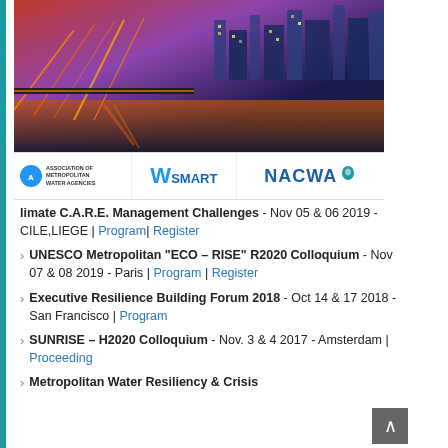[Figure (photo): Nighttime cityscape photo showing a bridge with orange light trails and a city skyline in the background under a purple/blue sky. Below are sponsor logos: Association of Metropolitan Water Agencies, WSMART, and NACWA.]
limate C.A.R.E. Management Challenges - Nov 05 & 06 2019 - CILE,LIEGE | Program| Register
UNESCO Metropolitan “ECO – RISE” R2020 Colloquium - Nov 07 & 08 2019 - Paris | Program | Register
Executive Resilience Building Forum 2018 - Oct 14 & 17 2018 - San Francisco | Program
SUNRISE – H2020 Colloquium - Nov. 3 & 4 2017 - Amsterdam | Proceeding
Metropolitan Water Resiliency & Crisis Management - Oct 14 - Oct 15 2016